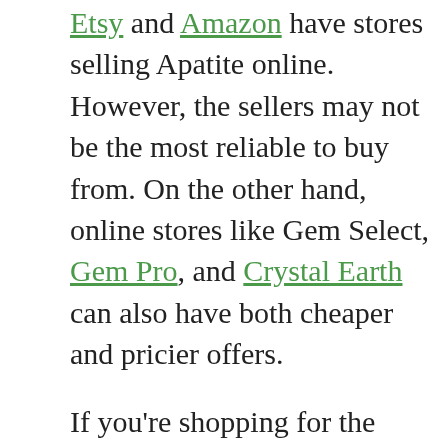Etsy and Amazon have stores selling Apatite online. However, the sellers may not be the most reliable to buy from. On the other hand, online stores like Gem Select, Gem Pro, and Crystal Earth can also have both cheaper and pricier offers.
If you're shopping for the crystals, you need to check the declaration and certification it has from the gemstone society that approved of it. Otherwise, you may get scammed.
Green Apatite: More FAQs
[su_panel background="#eeeeee" border="2px none #ff9c73"]